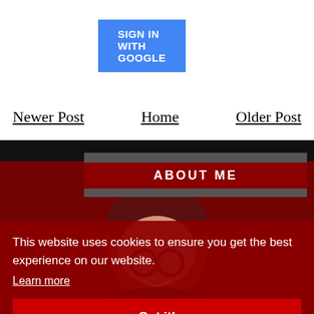[Figure (other): Blue 'SIGN IN WITH GOOGLE' button]
Newer Post | Home | Older Post
ABOUT ME
[Figure (photo): Photo of a woman with glasses and dark hair, overlaid with red translucent background]
This website uses cookies to ensure you get the best experience on our website. Learn more
Got it!